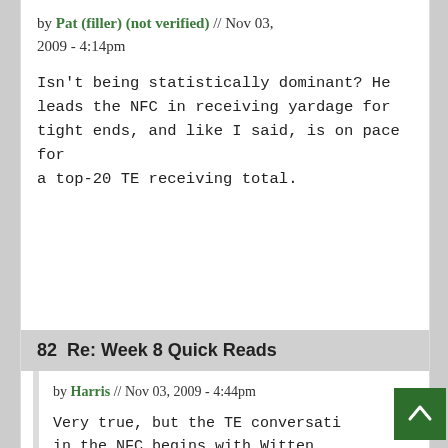by Pat (filler) (not verified) // Nov 03, 2009 - 4:14pm
Isn't being statistically dominant? He leads the NFC in receiving yardage for tight ends, and like I said, is on pace for a top-20 TE receiving total.
82  Re: Week 8 Quick Reads
by Harris // Nov 03, 2009 - 4:44pm
Very true, but the TE conversation in the NFC begins with Witten, ends with Cooley and with Gonzalez in the mix, Celek will